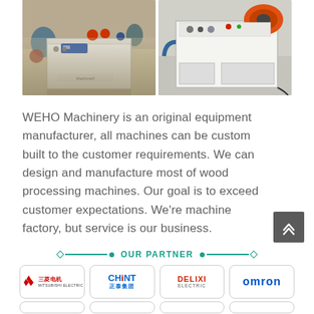[Figure (photo): Two photos of industrial wood processing machines (white cabinet-style machines with various attachments and components), shown side by side in a workshop/factory setting.]
WEHO Machinery is an original equipment manufacturer, all machines can be custom built to the customer requirements. We can design and manufacture most of wood processing machines. Our goal is to exceed customer expectations. We're machine factory, but service is our business.
OUR PARTNER
[Figure (logo): Partner logos row: Mitsubishi Electric (三菱电机), CHNT (正泰集团), DELIXI ELECTRIC, OMRON]
[Figure (logo): Second row of partner logos (partially visible at bottom)]